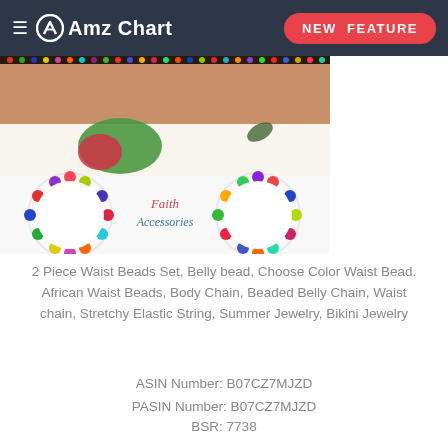≡ AmzChart | NEW FEATURE
[Figure (photo): Product images of colorful waist beads and jewelry set with floral background, showing two images: top image with beads on skin with floral design, bottom image showing bead bracelets/necklaces with 'Faith Accessories' branding]
2 Piece Waist Beads Set, Belly bead, Choose Color Waist Bead. African Waist Beads, Body Chain, Beaded Belly Chain, Waist chain, Stretchy Elastic String, Summer Jewelry, Bikini Jewelry
ASIN Number: B07CZ7MJZD
PASIN Number: B07CZ7MJZD
BSR: 7738
Buybox Price: $10.9
Buybox Seller: FadikAccessories
Shipping Method: FBM